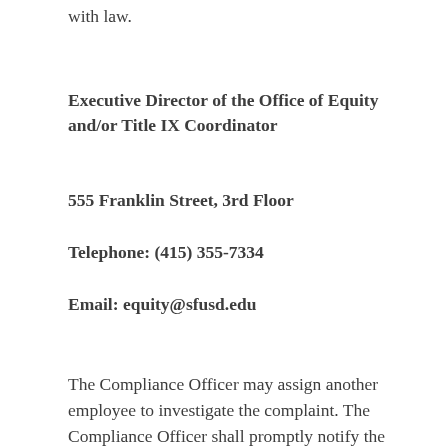with law.
Executive Director of the Office of Equity and/or Title IX Coordinator
555 Franklin Street, 3rd Floor
Telephone: (415) 355-7334
Email: equity@sfusd.edu
The Compliance Officer may assign another employee to investigate the complaint. The Compliance Officer shall promptly notify the complainant if another employee is designated to